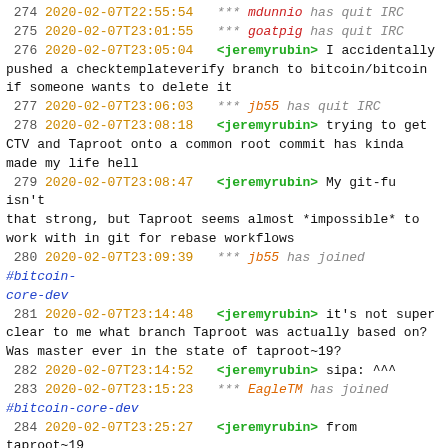274 2020-02-07T22:55:54   *** mdunnio has quit IRC
275 2020-02-07T23:01:55   *** goatpig has quit IRC
276 2020-02-07T23:05:04   <jeremyrubin> I accidentally pushed a checktemplateverify branch to bitcoin/bitcoin if someone wants to delete it
277 2020-02-07T23:06:03   *** jb55 has quit IRC
278 2020-02-07T23:08:18   <jeremyrubin> trying to get CTV and Taproot onto a common root commit has kinda made my life hell
279 2020-02-07T23:08:47   <jeremyrubin> My git-fu isn't that strong, but Taproot seems almost *impossible* to work with in git for rebase workflows
280 2020-02-07T23:09:39   *** jb55 has joined #bitcoin-core-dev
281 2020-02-07T23:14:48   <jeremyrubin> it's not super clear to me what branch Taproot was actually based on? Was master ever in the state of taproot~19?
282 2020-02-07T23:14:52   <jeremyrubin> sipa: ^^^
283 2020-02-07T23:15:23   *** EagleTM has joined #bitcoin-core-dev
284 2020-02-07T23:25:27   <jeremyrubin> from taproot~19 I can't even pull in master without merge conflict
285 2020-02-07T23:25:49   <jeremyrubin> because of build_msvc/bitcoin_config.h
286 2020-02-07T23:31:55   *** jarthur has quit IRC
287 2020-02-07T23:35:01   *** Highway62 has joined #bitcoin-core-dev
288 2020-02-07T23:36:07   *** Highway61 has quit IRC